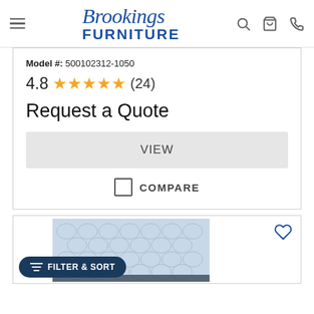Brookings Furniture — navigation header with hamburger menu, logo, search, cart, and phone icons
Model #: 500102312-1050
4.8 ★★★★★ (24)
Request a Quote
VIEW
COMPARE
[Figure (photo): Close-up photo of a Serta mattress surface showing quilted tufted fabric pattern, light blue-grey color, partially visible brand logo at bottom.]